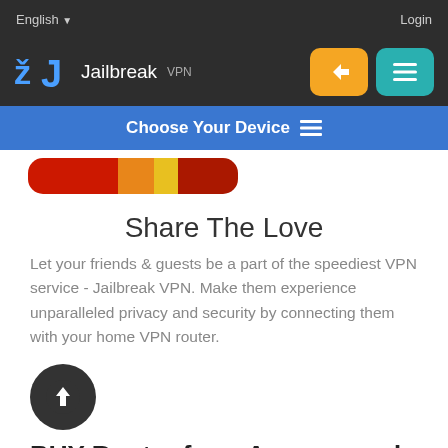English ▼ | Login
[Figure (logo): Jailbreak VPN logo with blue J icon, yellow login button, teal hamburger menu button]
Choose Your Device ≡
[Figure (illustration): Colorful app icon strip with red, orange, yellow, and dark red segments]
Share The Love
Let your friends & guests be a part of the speediest VPN service - Jailbreak VPN. Make them experience unparalleled privacy and security by connecting them with your home VPN router.
[Figure (illustration): Dark circular icon with white upward arrow]
BUY Router from Amazon and